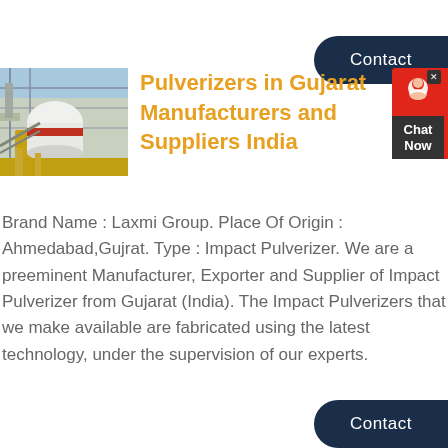Contact
[Figure (photo): Industrial pulverizer machine at a manufacturing facility]
Pulverizers in Gujarat Manufacturers and Suppliers India
Brand Name : Laxmi Group. Place Of Origin : Ahmedabad,Gujrat. Type : Impact Pulverizer. We are a preeminent Manufacturer, Exporter and Supplier of Impact Pulverizer from Gujarat (India). The Impact Pulverizers that we make available are fabricated using the latest technology, under the supervision of our experts.
Contact